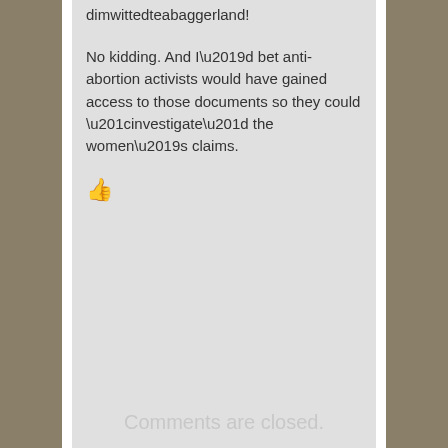dimwittedteabaggerland!
No kidding. And I’d bet anti-abortion activists would have gained access to those documents so they could “investigate” the women’s claims.
Pingback: The Mahablog » Remembering Sherri Finkbine
Comments are closed.